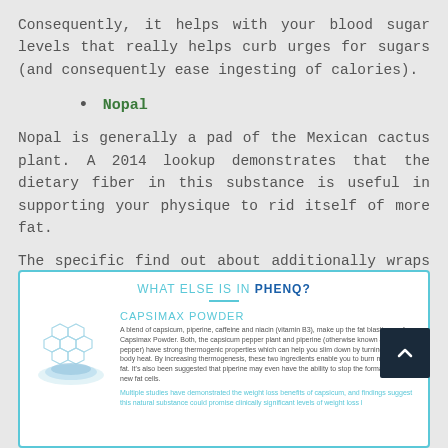Consequently, it helps with your blood sugar levels that really helps curb urges for sugars (and consequently ease ingesting of calories).
Nopal
Nopal is generally a pad of the Mexican cactus plant. A 2014 lookup demonstrates that the dietary fiber in this substance is useful in supporting your physique to rid itself of more fat.
The specific find out about additionally wraps up that nopal is typically a healthy issue of the weight-reduction plan format for suitable motives different than weight reduction.
[Figure (infographic): Box with heading 'WHAT ELSE IS IN PHENQ?' and section about Capsimax Powder with a molecular/powder illustration and descriptive text about capsicum, piperine, caffeine and niacin blend.]